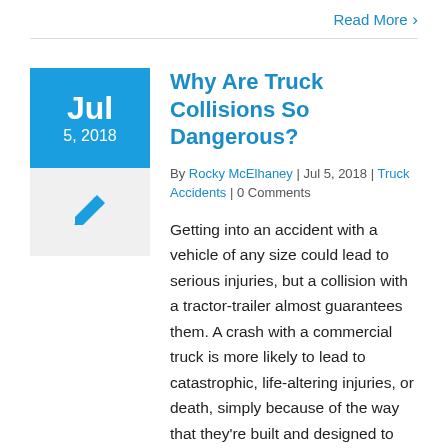can be. But you don't [...]
Read More ›
Why Are Truck Collisions So Dangerous?
By Rocky McElhaney | Jul 5, 2018 | Truck Accidents | 0 Comments
Getting into an accident with a vehicle of any size could lead to serious injuries, but a collision with a tractor-trailer almost guarantees them. A crash with a commercial truck is more likely to lead to catastrophic, life-altering injuries, or death, simply because of the way that they're built and designed to move.